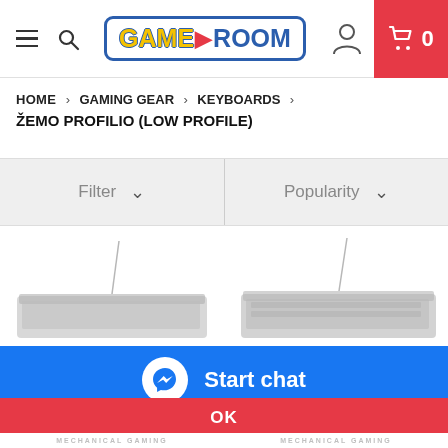[Figure (screenshot): Game Room website header with hamburger menu, search icon, Game Room logo, user icon, and red cart button showing 0 items]
HOME > GAMING GEAR > KEYBOARDS > ŽEMO PROFILIO (LOW PROFILE)
Filter ∨   Popularity ∨
[Figure (photo): Two low-profile mechanical gaming keyboards partially visible]
Start chat
We use cookies to ensure that we give you the best experience on our website. More information on our privacy policy page.
OK
MECHANICAL GAMING   MECHANICAL GAMING